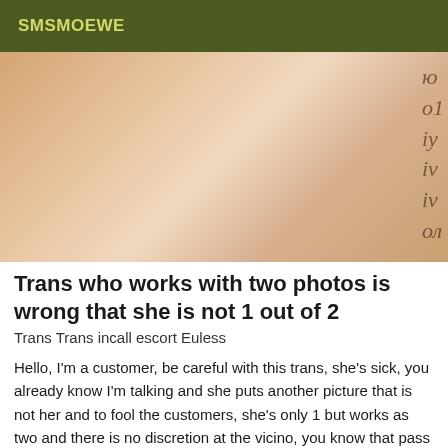SMSMOEWE
[Figure (photo): Close-up photo of a person's torso wearing a light pink/white top, with partial view of tiled floor and dark fabric at bottom right. Partial text visible on right edge.]
Trans who works with two photos is wrong that she is not 1 out of 2
Trans Trans incall escort Euless
Hello, I'm a customer, be careful with this trans, she's sick, you already know I'm talking and she puts another picture that is not her and to fool the customers, she's only 1 but works as two and there is no discretion at the vicino, you know that pass a man I wonder where I was indo if you go the whore I'll call the police be careful if